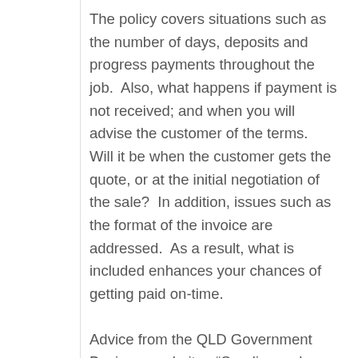The policy covers situations such as the number of days, deposits and progress payments throughout the job.  Also, what happens if payment is not received; and when you will advise the customer of the terms.  Will it be when the customer gets the quote, or at the initial negotiation of the sale?  In addition, issues such as the format of the invoice are addressed.  As a result, what is included enhances your chances of getting paid on-time.
Advice from the QLD Government Business website:  “Sending a clear